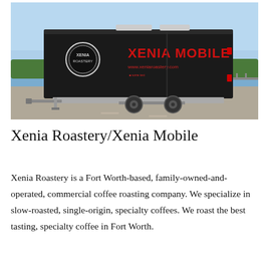[Figure (photo): A black enclosed trailer branded 'XENIA MOBILE' in large red letters on the side, with 'www.xeniaroastery.com' written below in smaller red text, parked on a gravel lot near a waterfront with trees and a bridge visible in the background under a blue sky.]
Xenia Roastery/Xenia Mobile
Xenia Roastery is a Fort Worth-based, family-owned-and-operated, commercial coffee roasting company. We specialize in slow-roasted, single-origin, specialty coffees. We roast the best tasting, specialty coffee in Fort Worth.